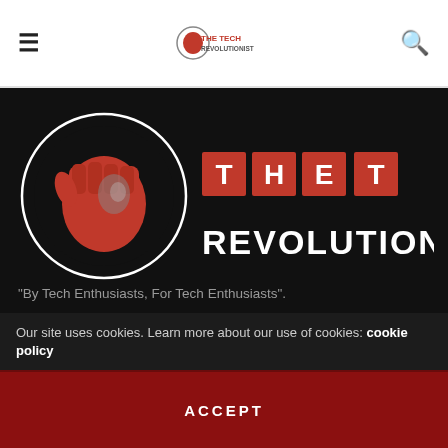The Tech Revolutionist — navigation header with hamburger menu, logo, and search icon
[Figure (logo): The Tech Revolutionist large logo: fist in circle on left, red block text THE TECH REVOLUTIONIST on right]
"By Tech Enthusiasts, For Tech Enthusiasts".
The Tech Revolutionist was established in 2012 to bring the latest news from the PC DIY scene to the readers in Singapore. We have now expanded into
Our site uses cookies. Learn more about our use of cookies: cookie policy
ACCEPT